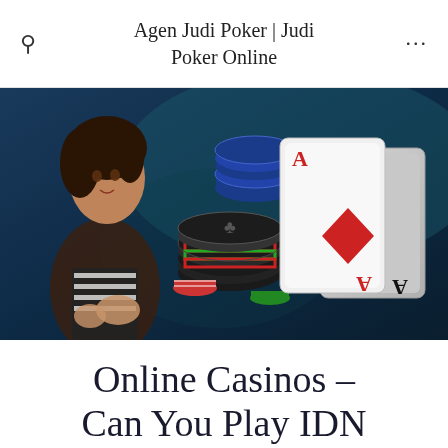Agen Judi Poker | Judi Poker Online
[Figure (photo): A young woman in a striped outfit posing with poker chips and playing cards (two Aces) on a dark blue background, depicting an online poker / casino scene.]
Online Casinos – Can You Play IDN